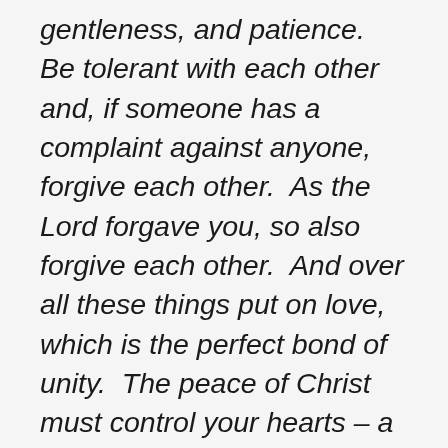gentleness, and patience. Be tolerant with each other and, if someone has a complaint against anyone, forgive each other. As the Lord forgave you, so also forgive each other. And over all these things put on love, which is the perfect bond of unity. The peace of Christ must control your hearts – a peace into which you were called in one body. And be thankful people. The word of Christ must live in you richly. Teach and warn each other with all wisdom by singing psalms, hymns, and spiritual songs. Sing to God with gratitude in your hearts. Whatever you do, whether in speech or action, do it all in the name of the Lord Jesus and give thanks to